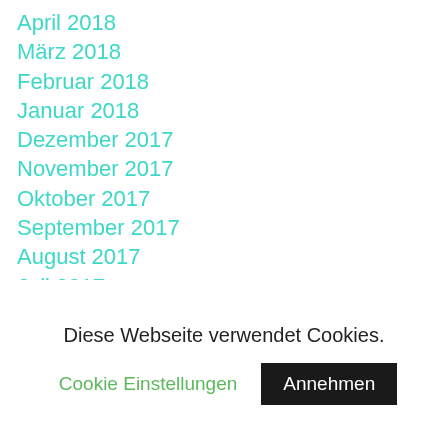April 2018
März 2018
Februar 2018
Januar 2018
Dezember 2017
November 2017
Oktober 2017
September 2017
August 2017
Juli 2017
Juni 2017
Diese Webseite verwendet Cookies.
Cookie Einstellungen
Annehmen